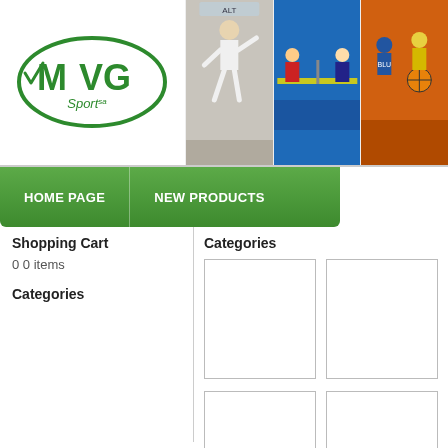[Figure (logo): MVG Sport logo - green oval with MVG text and Sport below]
[Figure (photo): Header photos showing karate, table tennis, and basketball sports]
HOME PAGE
NEW PRODUCTS
Shopping Cart
Categories
0 0 items
Categories
[Figure (other): Product placeholder image box 1]
[Figure (other): Product placeholder image box 2]
[Figure (other): Product placeholder image box 3 (partial)]
[Figure (other): Product placeholder image box 4 (partial)]